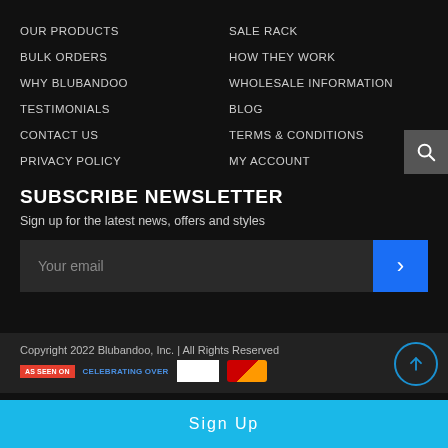OUR PRODUCTS
SALE RACK
BULK ORDERS
HOW THEY WORK
WHY BLUBANDOO
WHOLESALE INFORMATION
TESTIMONIALS
BLOG
CONTACT US
TERMS & CONDITIONS
PRIVACY POLICY
MY ACCOUNT
SUBSCRIBE NEWSLETTER
Sign up for the latest news, offers and styles
Your email
Copyright 2022 Blubandoo, Inc. | All Rights Reserved
AS SEEN ON  CELEBRATING OVER
Sign Up